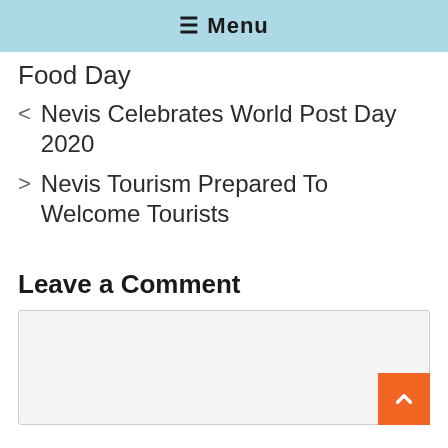☰ Menu
Food Day
< Nevis Celebrates World Post Day 2020
> Nevis Tourism Prepared To Welcome Tourists
Leave a Comment